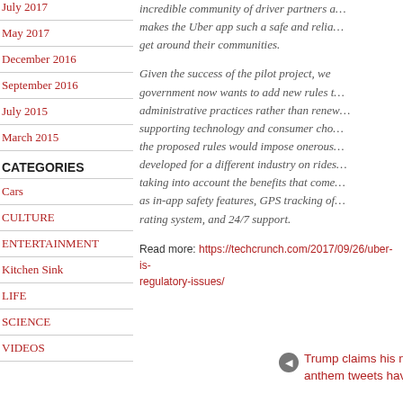July 2017
May 2017
December 2016
September 2016
July 2015
March 2015
CATEGORIES
Cars
CULTURE
ENTERTAINMENT
Kitchen Sink
LIFE
SCIENCE
VIDEOS
incredible community of driver partners a… makes the Uber app such a safe and relia… get around their communities.
Given the success of the pilot project, we government now wants to add new rules t… administrative practices rather than renew… supporting technology and consumer cho… the proposed rules would impose onerous… developed for a different industry on rides… taking into account the benefits that come… as in-app safety features, GPS tracking of… rating system, and 24/7 support.
Read more: https://techcrunch.com/2017/09/26/uber-is-regulatory-issues/
Trump claims his national anthem tweets have nothing to